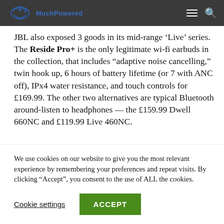[Site logo / navigation bar]
JBL also exposed 3 goods in its mid-range ‘Live’ series. The Reside Pro+ is the only legitimate wi-fi earbuds in the collection, that includes “adaptive noise cancelling,” twin hook up, 6 hours of battery lifetime (or 7 with ANC off), IPx4 water resistance, and touch controls for £169.99. The other two alternatives are typical Bluetooth around-listen to headphones — the £159.99 Dwell 660NC and £119.99 Live 460NC.
We use cookies on our website to give you the most relevant experience by remembering your preferences and repeat visits. By clicking “Accept”, you consent to the use of ALL the cookies.